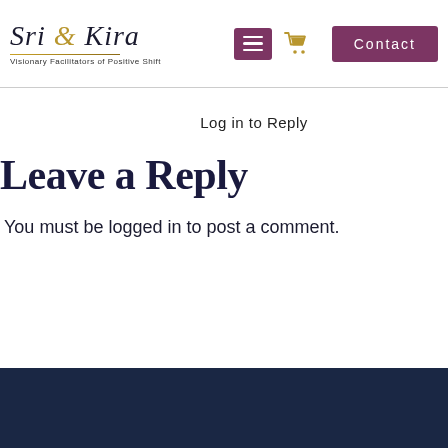[Figure (logo): Sri & Kira logo with cursive/script font, gold ampersand, subtitle 'Visionary Facilitators of Positive Shift', gold underline]
Log in to Reply
Leave a Reply
You must be logged in to post a comment.